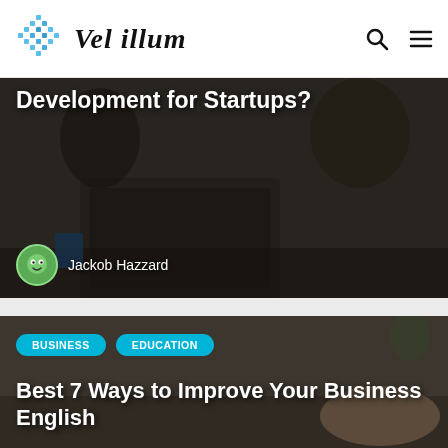Vel illum
[Figure (photo): Business meeting photo showing people around a laptop, with overlaid headline text 'Development for Startups?' and author byline 'Jackob Hazzard']
Development for Startups?
Jackob Hazzard
[Figure (photo): Photo of business document/magazine being held, with category tags BUSINESS and EDUCATION, and headline 'Best 7 Ways to Improve Your Business English'. Word 'Business' visible at bottom of image.]
Best 7 Ways to Improve Your Business English